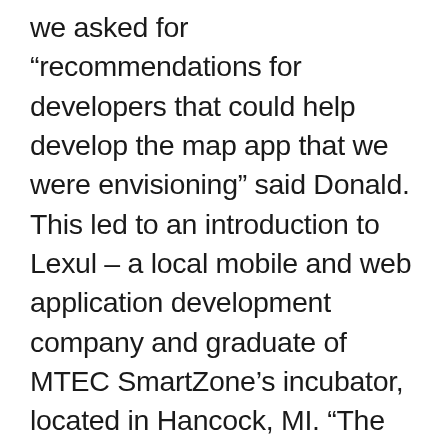we asked for “recommendations for developers that could help develop the map app that we were envisioning” said Donald. This led to an introduction to Lexul – a local mobile and web application development company and graduate of MTEC SmartZone’s incubator, located in Hancock, MI. “The Michigan UP Trails app provided Lexul with a great opportunity to publicly showcase our mapping and app development capabilities. Most of our work is with custom internal business applications that have proprietary technology and processes” said Eric Ollis, CEO of Lexul LLC. Since its release, they have seen over 5,000 downloads to date,